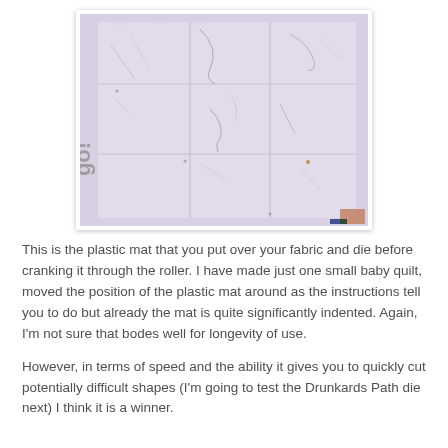[Figure (photo): A photograph of a plastic cutting mat (marked 'go!' brand) showing grid lines and indentations/marks from use with a die cutting roller. The mat is light lavender/purple with visible grid sections and wear marks.]
This is the plastic mat that you put over your fabric and die before cranking it through the roller. I have made just one small baby quilt, moved the position of the plastic mat around as the instructions tell you to do but already the mat is quite significantly indented. Again, I'm not sure that bodes well for longevity of use.
However, in terms of speed and the ability it gives you to quickly cut potentially difficult shapes (I'm going to test the Drunkards Path die next) I think it is a winner.